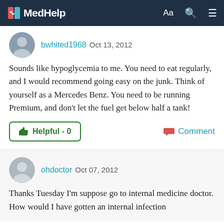MedHelp
bwhited1968 Oct 13, 2012
Sounds like hypoglycemia to me. You need to eat regularly, and I would recommend going easy on the junk. Think of yourself as a Mercedes Benz. You need to be running Premium, and don't let the fuel get below half a tank!
Helpful - 0   Comment
ohdoctor Oct 07, 2012
Thanks Tuesday I'm suppose go to internal medicine doctor. How would I have gotten an internal infection